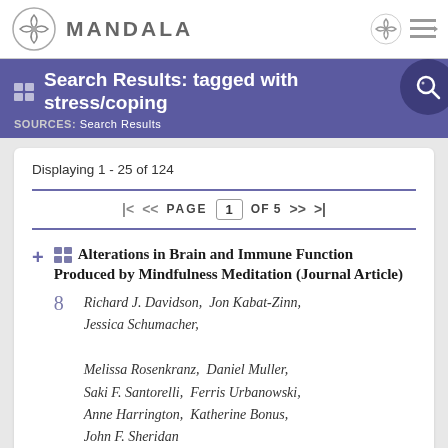MANDALA
Search Results: tagged with stress/coping
SOURCES: Search Results
Displaying 1 - 25 of 124
PAGE 1 OF 5
Alterations in Brain and Immune Function Produced by Mindfulness Meditation (Journal Article)
Richard J. Davidson, Jon Kabat-Zinn, Jessica Schumacher, Melissa Rosenkranz, Daniel Muller, Saki F. Santorelli, Ferris Urbanowski, Anne Harrington, Katherine Bonus, John F. Sheridan